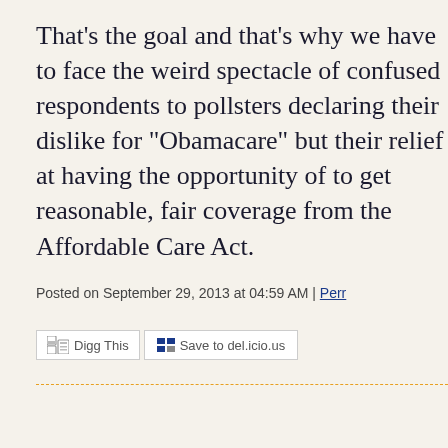That's the goal and that's why we have to face the weird spectacle of confused respondents to pollsters declaring their dislike for "Obamacare" but their relief at having the opportunity of to get reasonable, fair coverage from the Affordable Care Act.
Posted on September 29, 2013 at 04:59 AM | Perr
[Figure (other): Digg This and Save to del.icio.us social sharing buttons]